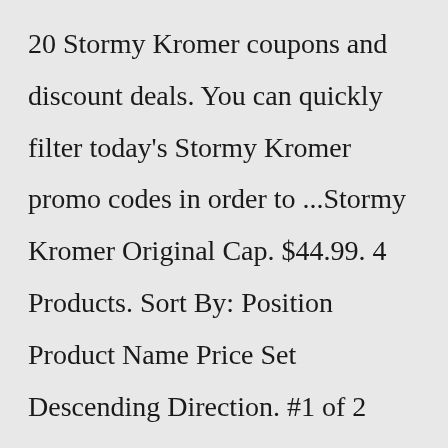20 Stormy Kromer coupons and discount deals. You can quickly filter today's Stormy Kromer promo codes in order to ...Stormy Kromer Original Cap. $44.99. 4 Products. Sort By: Position Product Name Price Set Descending Direction. #1 of 2 Tours in Ironwood Tours, Factory Tours Ironwood, MI, USA More About Stormy Kromer Factory Tour Back in 1903, the Original Stormy Kromer Cap was built with quality fabrics carefully crafted in the U.S. It...